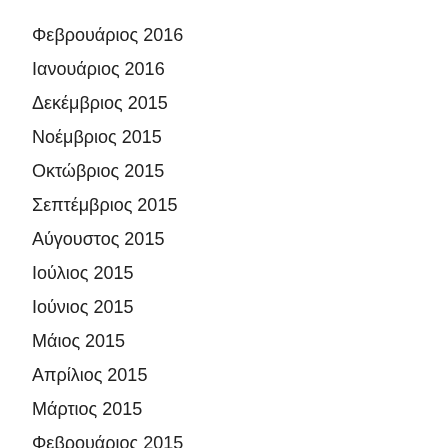Φεβρουάριος 2016
Ιανουάριος 2016
Δεκέμβριος 2015
Νοέμβριος 2015
Οκτώβριος 2015
Σεπτέμβριος 2015
Αύγουστος 2015
Ιούλιος 2015
Ιούνιος 2015
Μάιος 2015
Απρίλιος 2015
Μάρτιος 2015
Φεβρουάριος 2015